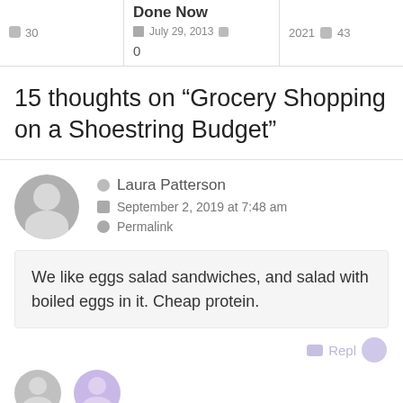30  |  Done Now  |  July 29, 2013  |  0  |  2021  43
15 thoughts on “Grocery Shopping on a Shoestring Budget”
Laura Patterson
September 2, 2019 at 7:48 am
Permalink
We like eggs salad sandwiches, and salad with boiled eggs in it. Cheap protein.